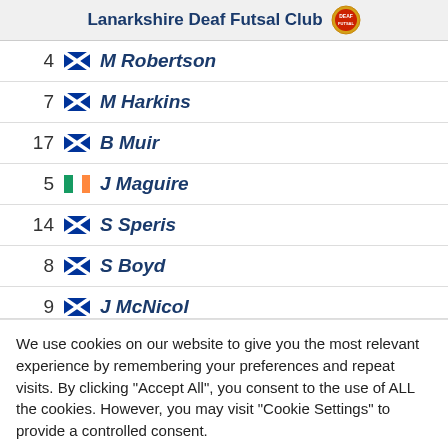Lanarkshire Deaf Futsal Club
4  M Robertson
7  M Harkins
17  B Muir
5  J Maguire
14  S Speris
8  S Boyd
9  J McNicol
We use cookies on our website to give you the most relevant experience by remembering your preferences and repeat visits. By clicking "Accept All", you consent to the use of ALL the cookies. However, you may visit "Cookie Settings" to provide a controlled consent.